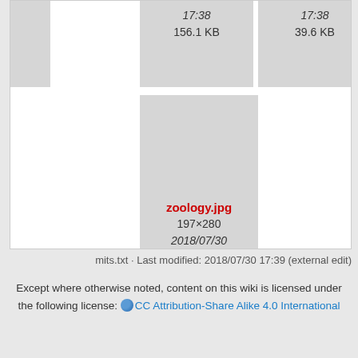[Figure (screenshot): File browser thumbnail grid showing image files with timestamps and sizes. Two partial thumbnails at top: 17:38 / 156.1 KB and 17:38 / 39.6 KB. Center thumbnail for zoology.jpg showing 197×280, 2018/07/30 17:38, 9.5 KB.]
mits.txt · Last modified: 2018/07/30 17:39 (external edit)
Except where otherwise noted, content on this wiki is licensed under the following license: CC Attribution-Share Alike 4.0 International